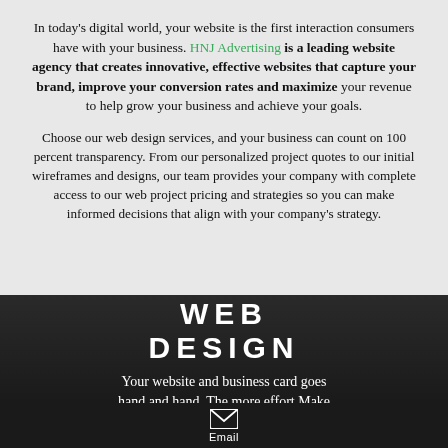In today's digital world, your website is the first interaction consumers have with your business. HNJ Advertising is a leading website agency that creates innovative, effective websites that capture your brand, improve your conversion rates and maximize your revenue to help grow your business and achieve your goals.
Choose our web design services, and your business can count on 100 percent transparency. From our personalized project quotes to our initial wireframes and designs, our team provides your company with complete access to our web project pricing and strategies so you can make informed decisions that align with your company's strategy.
WEB DESIGN
Your website and business card goes hand and hand. The more effort Make
[Figure (infographic): Email icon (envelope) with label 'Email' below it on a black background]